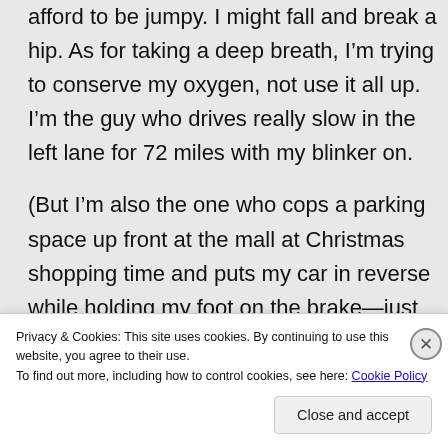afford to be jumpy. I might fall and break a hip. As for taking a deep breath, I'm trying to conserve my oxygen, not use it all up. I'm the guy who drives really slow in the left lane for 72 miles with my blinker on.
(But I'm also the one who cops a parking space up front at the mall at Christmas shopping time and puts my car in reverse while holding my foot on the brake—just to amuse
Privacy & Cookies: This site uses cookies. By continuing to use this website, you agree to their use.
To find out more, including how to control cookies, see here: Cookie Policy
Close and accept